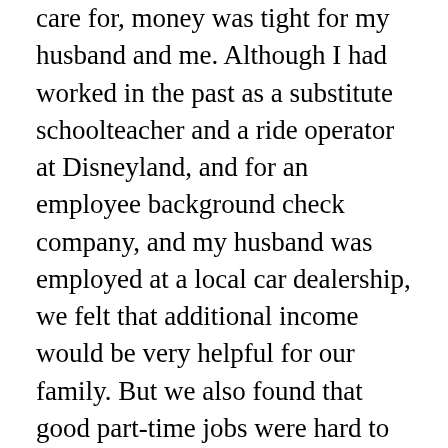care for, money was tight for my husband and me. Although I had worked in the past as a substitute schoolteacher and a ride operator at Disneyland, and for an employee background check company, and my husband was employed at a local car dealership, we felt that additional income would be very helpful for our family. But we also found that good part-time jobs were hard to come by, and good childcare was difficult to afford.  Surrogacy seemed a good way for me to be able to supplement our family income while also allowing me to take care of our kids. With compensation of about $50,000 being offered by surrogacy agencies at that time—more than most of us could hope to make in a year working outside the home full-time—surrogacy seemed like a very attractive option. Besides, all of